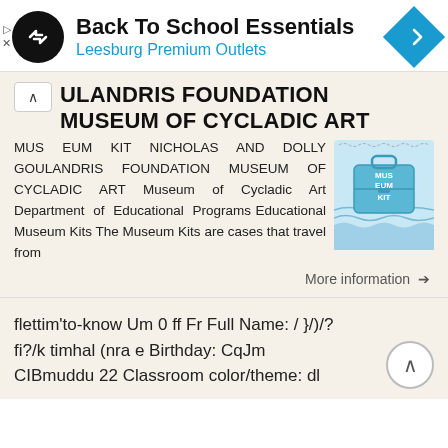[Figure (screenshot): Ad banner for Back To School Essentials at Leesburg Premium Outlets with logo icon and navigation arrow icon]
GOULANDRIS FOUNDATION MUSEUM OF CYCLADIC ART
MUS EUM KIT NICHOLAS AND DOLLY GOULANDRIS FOUNDATION MUSEUM OF CYCLADIC ART Museum of Cycladic Art Department of Educational Programs Educational Museum Kits The Museum Kits are cases that travel from
More information →
flettim'to-know Um 0 ff Fr Full Name: / }/)/?  fi?/k timhal (nra e Birthday: CqJm CIBmuddu 22 Classroom color/theme: dl